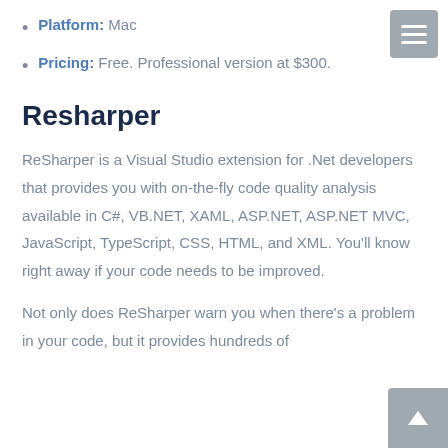Platform: Mac
Pricing: Free. Professional version at $300.
Resharper
ReSharper is a Visual Studio extension for .Net developers that provides you with on-the-fly code quality analysis available in C#, VB.NET, XAML, ASP.NET, ASP.NET MVC, JavaScript, TypeScript, CSS, HTML, and XML. You’ll know right away if your code needs to be improved.
Not only does ReSharper warn you when there’s a problem in your code, but it provides hundreds of